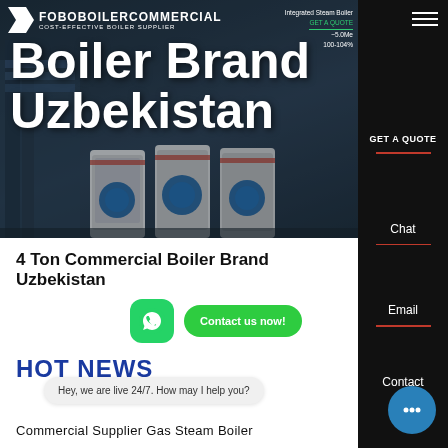[Figure (screenshot): Hero banner image of industrial boiler equipment with dark blue/grey background showing large commercial steam boilers]
FoBoBoiler Commercial – COST-EFFECTIVE BOILER SUPPLIER
Boiler Brand Uzbekistan
4 Ton Commercial Boiler Brand Uzbekistan
HOT NEWS
Hey, we are live 24/7. How may I help you?
Commercial Supplier Gas Steam Boiler
Contact us now!
Chat
Email
Contact
GET A QUOTE